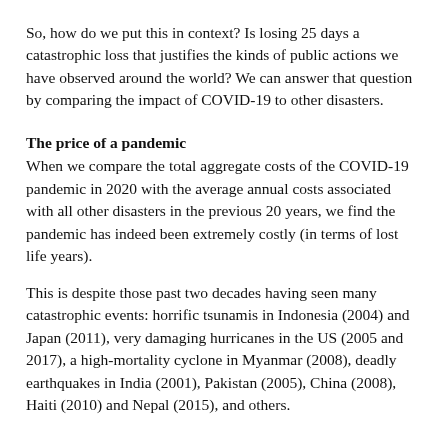So, how do we put this in context? Is losing 25 days a catastrophic loss that justifies the kinds of public actions we have observed around the world? We can answer that question by comparing the impact of COVID-19 to other disasters.
The price of a pandemic
When we compare the total aggregate costs of the COVID-19 pandemic in 2020 with the average annual costs associated with all other disasters in the previous 20 years, we find the pandemic has indeed been extremely costly (in terms of lost life years).
This is despite those past two decades having seen many catastrophic events: horrific tsunamis in Indonesia (2004) and Japan (2011), very damaging hurricanes in the US (2005 and 2017), a high-mortality cyclone in Myanmar (2008), deadly earthquakes in India (2001), Pakistan (2005), China (2008), Haiti (2010) and Nepal (2015), and others.